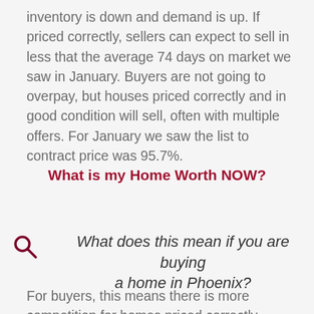inventory is down and demand is up. If priced correctly, sellers can expect to sell in less that the average 74 days on market we saw in January. Buyers are not going to overpay, but houses priced correctly and in good condition will sell, often with multiple offers. For January we saw the list to contract price was 95.7%.
What is my Home Worth NOW?
What does this mean if you are buying a home in Phoenix?
For buyers, this means there is more competition for homes priced correctly relative